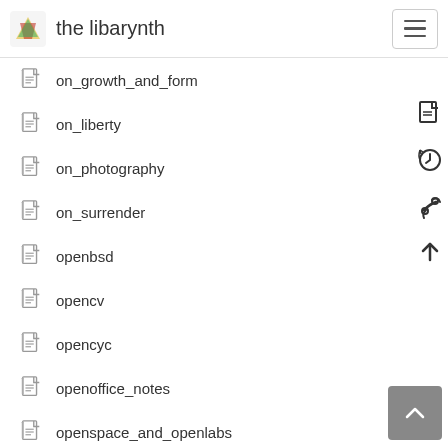the libarynth
on_growth_and_form
on_liberty
on_photography
on_surrender
openbsd
opencv
opencyc
openoffice_notes
openspace_and_openlabs
openspime
open_access
open_access_journals
open_codecs
open_cola_recipe
open_content
open_document
open_dynamics_engine
open_firmware